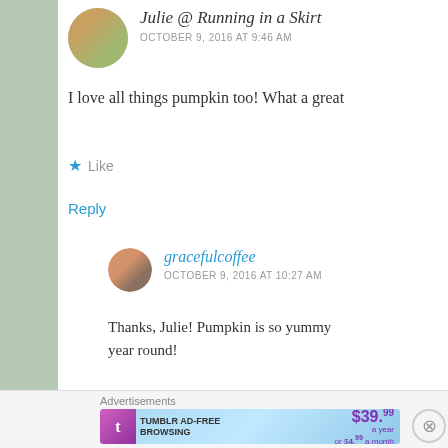Julie @ Running in a Skirt
OCTOBER 9, 2016 AT 9:46 AM
I love all things pumpkin too! What a great
Like
Reply
gracefulcoffee
OCTOBER 9, 2016 AT 10:27 AM
Thanks, Julie! Pumpkin is so yummy year round!
Advertisements
[Figure (screenshot): Tumblr ad-free browsing advertisement banner showing $39.99 a year or $4.99 a month]